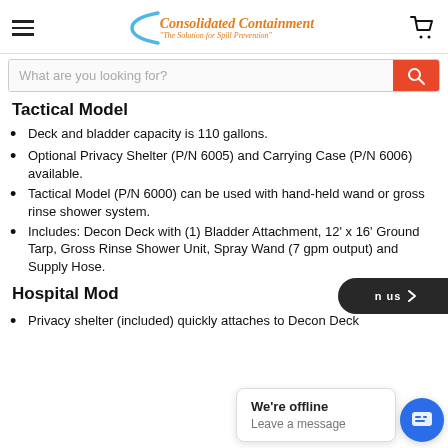Consolidated Containment "The Solution for Spill Prevention"
Tactical Model
Deck and bladder capacity is 110 gallons.
Optional Privacy Shelter (P/N 6005) and Carrying Case (P/N 6006) available.
Tactical Model (P/N 6000) can be used with hand-held wand or gross rinse shower system.
Includes: Decon Deck with (1) Bladder Attachment, 12' x 16' Ground Tarp, Gross Rinse Shower Unit, Spray Wand (7 gpm output) and Supply Hose.
Hospital Model
Privacy shelter (included) quickly attaches to Decon Deck